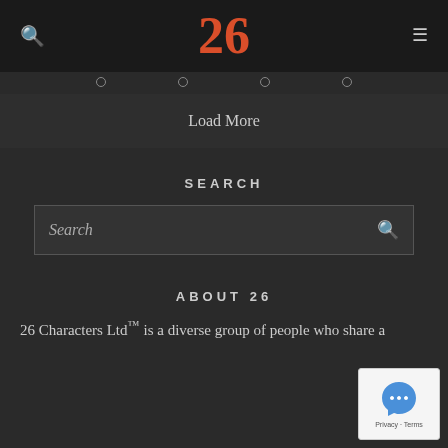26
Load More
SEARCH
Search
ABOUT 26
26 Characters Ltd™ is a diverse group of people who share a